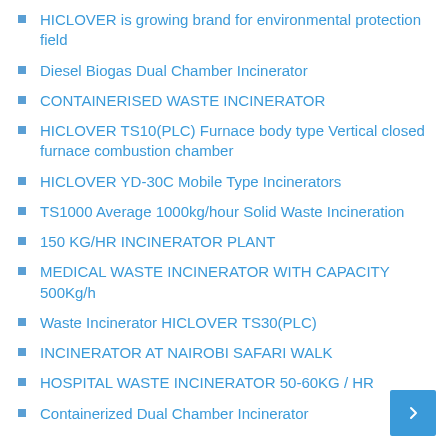HICLOVER is growing brand for environmental protection field
Diesel Biogas Dual Chamber Incinerator
CONTAINERISED WASTE INCINERATOR
HICLOVER TS10(PLC) Furnace body type Vertical closed furnace combustion chamber
HICLOVER YD-30C Mobile Type Incinerators
TS1000 Average 1000kg/hour Solid Waste Incineration
150 KG/HR INCINERATOR PLANT
MEDICAL WASTE INCINERATOR WITH CAPACITY 500Kg/h
Waste Incinerator HICLOVER TS30(PLC)
INCINERATOR AT NAIROBI SAFARI WALK
HOSPITAL WASTE INCINERATOR 50-60KG / HR
Containerized Dual Chamber Incinerator